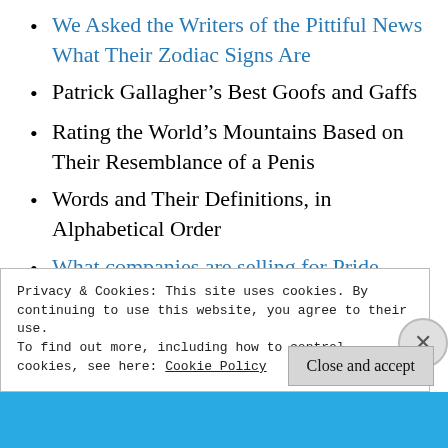We Asked the Writers of the Pittiful News What Their Zodiac Signs Are
Patrick Gallagher's Best Goofs and Gaffs
Rating the World's Mountains Based on Their Resemblance of a Penis
Words and Their Definitions, in Alphabetical Order
What companies are selling for Pride month
Privacy & Cookies: This site uses cookies. By continuing to use this website, you agree to their use. To find out more, including how to control cookies, see here: Cookie Policy
Close and accept